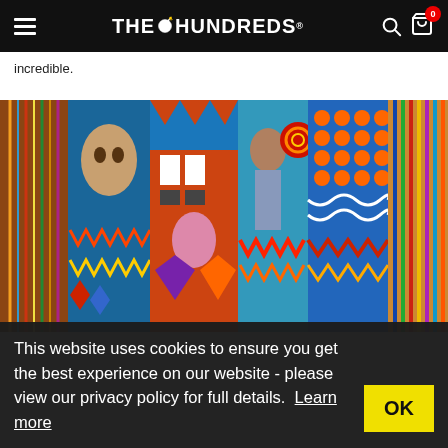THE HUNDREDS
incredible.
[Figure (photo): Colorful collage of abstract and figurative paintings displayed side by side, featuring bold patterns, geometric shapes, faces, and vibrant colors including blue, red, orange, green and yellow.]
This website uses cookies to ensure you get the best experience on our website - please view our privacy policy for full details. Learn more